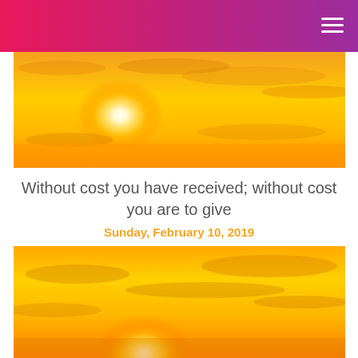[Figure (photo): Bright sunrise or sunset photo with large glowing white sun against an orange and yellow sky with wispy clouds]
Without cost you have received; without cost you are to give
Sunday, February 10, 2019
[Figure (photo): Bright sunrise or sunset photo with glowing sun low on the horizon against a vivid orange and yellow sky with clouds]